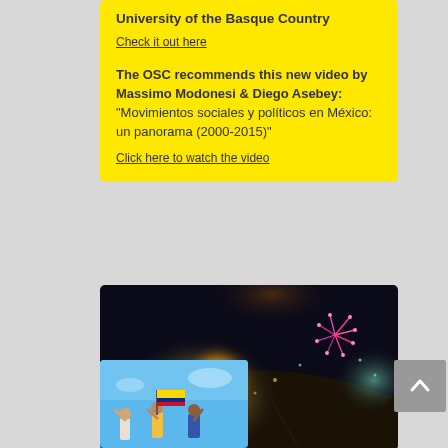University of the Basque Country
Check it out here
The OSC recommends this new video by Massimo Modonesi & Diego Asebey: "Movimientos sociales y políticos en México: un panorama (2000-2015)"
Click here to watch the video
[Figure (photo): Aerial night photograph of a large crowd gathered in a city square with fireworks and bright lights illuminating the scene]
[Figure (photo): People waving a Colombian flag against a blue sky background]